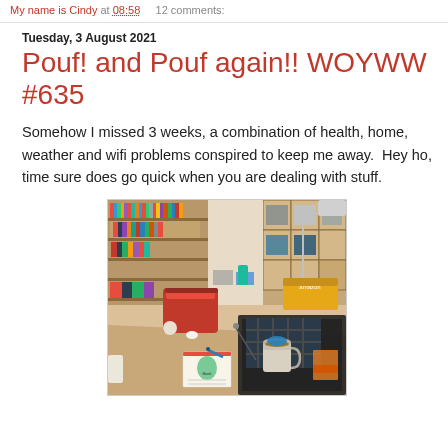My name is Cindy at 08:58   12 comments:
Tuesday, 3 August 2021
Pouf! and Pouf again!! WOYWW #635
Somehow I missed 3 weeks, a combination of health, home, weather and wifi problems conspired to keep me away.  Hey ho, time sure does go quick when you are dealing with stuff.
[Figure (photo): Photo of a craft room workspace with a desk in the foreground showing a red die-cutting machine, a mug of tea, a small book, pen, and a plaid/tartan cloth on a cutting mat. In the background are shelves and storage units filled with craft supplies, paper, stamps, and other materials. A desk lamp is visible on the right side.]